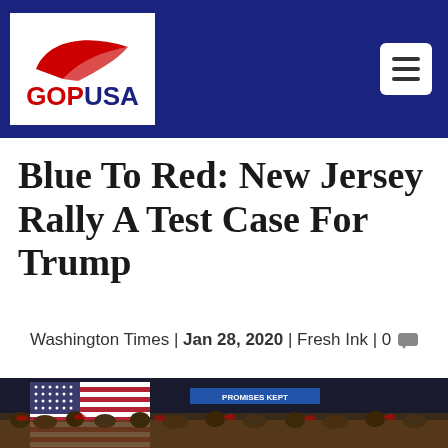GOPUSA (navigation header with logo and hamburger menu)
Blue To Red: New Jersey Rally A Test Case For Trump
Washington Times | Jan 28, 2020 | Fresh Ink | 0 comments
[Figure (photo): A Trump campaign rally showing a large crowd inside an arena with a large American flag displayed on stage and 'PROMISES KEPT' banner visible in the background.]